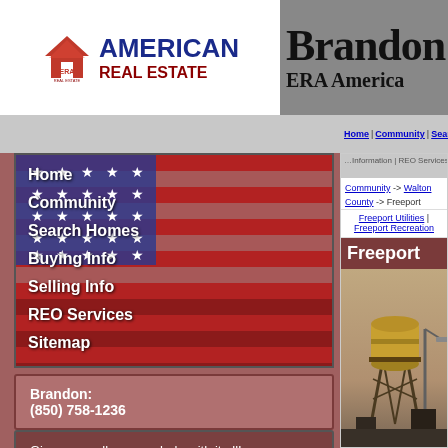[Figure (logo): ERA American Real Estate logo - red house icon with ERA text and AMERICAN REAL ESTATE text]
[Figure (photo): Partial banner showing 'Brandon' and 'ERA America' text on gray background]
Home | Community | Search Homes | Buying Informa...
Home
Community
Search Homes
Buying Info
Selling Info
REO Services
Sitemap
Brandon:
(850) 758-1236
Give us a call; we can help with it all!
Community -> Walton County -> Freeport
Freeport Utilities | Freeport Recreation
Freeport
[Figure (photo): Photo of a water tower at dusk/sunset with a light pole visible]